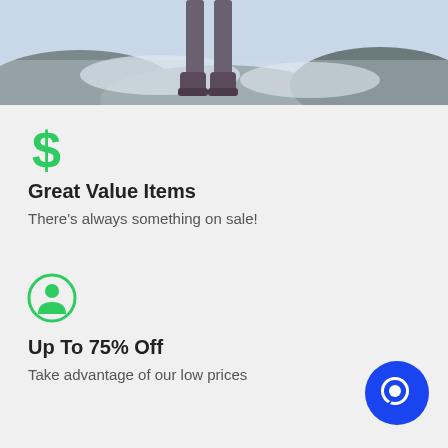[Figure (photo): Person standing on snowy rocky terrain, only legs and boots visible, partial crop at top of page]
[Figure (illustration): Green dollar sign icon]
Great Value Items
There's always something on sale!
[Figure (illustration): Green person/user icon inside a circle outline]
Up To 75% Off
Take advantage of our low prices
[Figure (illustration): Blue circular chat button in bottom right corner]